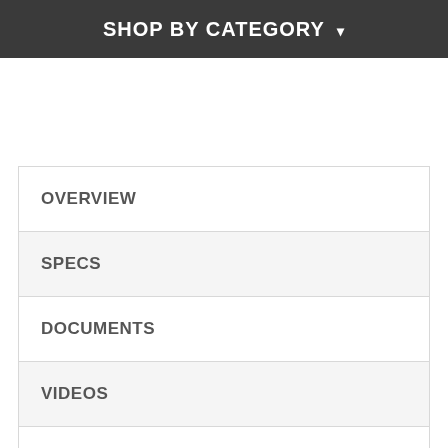SHOP BY CATEGORY
OVERVIEW
SPECS
DOCUMENTS
VIDEOS
DELIVERY
WARRANTY
REVIEWS (28)